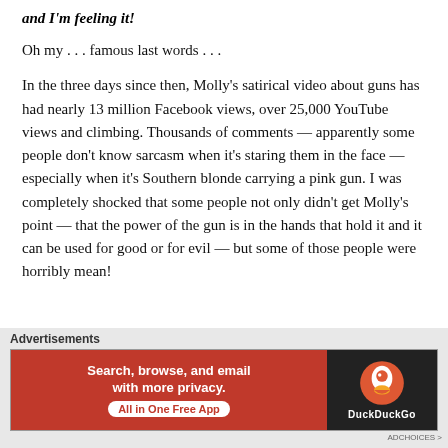and I'm feeling it!
Oh my . . . famous last words . . .
In the three days since then, Molly's satirical video about guns has had nearly 13 million Facebook views, over 25,000 YouTube views and climbing. Thousands of comments — apparently some people don't know sarcasm when it's staring them in the face — especially when it's Southern blonde carrying a pink gun. I was completely shocked that some people not only didn't get Molly's point — that the power of the gun is in the hands that hold it and it can be used for good or for evil — but some of those people were horribly mean!
Advertisements
[Figure (other): DuckDuckGo advertisement banner: 'Search, browse, and email with more privacy. All in One Free App' with DuckDuckGo logo on dark background.]